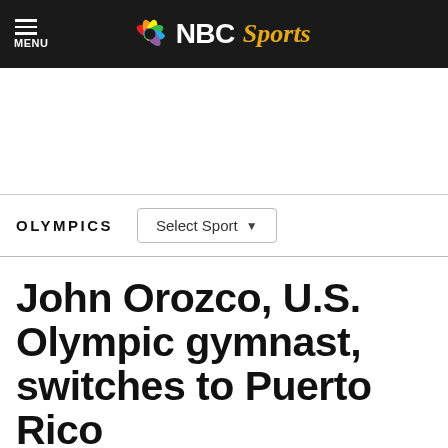MENU | NBC Sports
OLYMPICS | Select Sport
John Orozco, U.S. Olympic gymnast, switches to Puerto Rico
By OlympicTalk   Mar 3, 2020, 5:24 PM EST